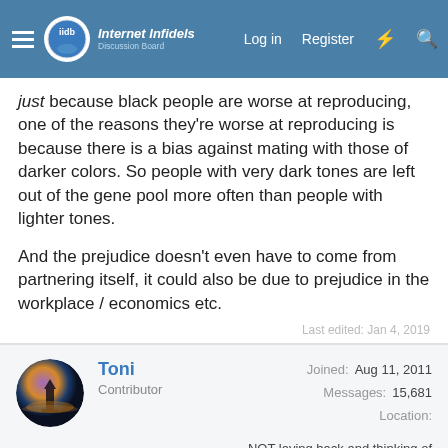Internet Infidels | Log in | Register
just because black people are worse at reproducing, one of the reasons they're worse at reproducing is because there is a bias against mating with those of darker colors. So people with very dark tones are left out of the gene pool more often than people with lighter tones.

And the prejudice doesn't even have to come from partnering itself, it could also be due to prejudice in the workplace / economics etc.
Last edited: Jan 4, 2019
Toni
Contributor
Joined: Aug 11, 2011
Messages: 15,681
Location: NOT laying back and thinking of
This site uses cookies to help personalise content, tailor your experience and to keep you logged in if you register.
By continuing to use this site, you are consenting to our use of cookies.